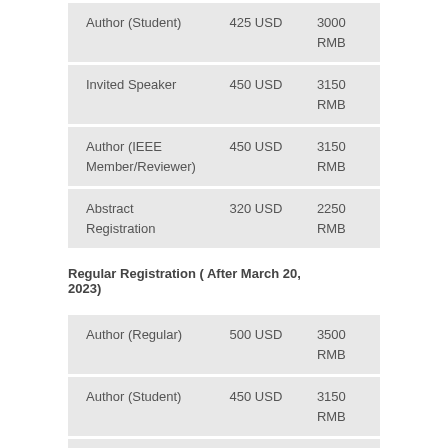|  | USD | RMB |
| --- | --- | --- |
| Author (Student) | 425 USD | 3000 RMB |
| Invited Speaker | 450 USD | 3150 RMB |
| Author (IEEE Member/Reviewer) | 450 USD | 3150 RMB |
| Abstract Registration | 320 USD | 2250 RMB |
Regular Registration ( After March 20, 2023)
|  | USD | RMB |
| --- | --- | --- |
| Author (Regular) | 500 USD | 3500 RMB |
| Author (Student) | 450 USD | 3150 RMB |
| Invited Speaker | 450 USD | 3150 RMB |